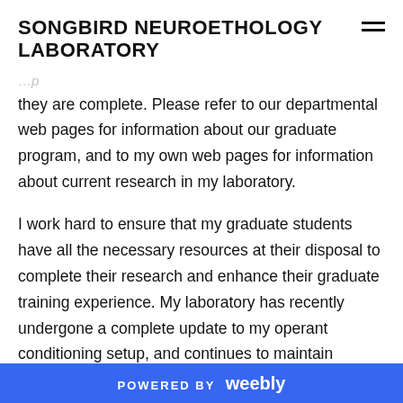SONGBIRD NEUROETHOLOGY LABORATORY
they are complete. Please refer to our departmental web pages for information about our graduate program, and to my own web pages for information about current research in my laboratory.
I work hard to ensure that my graduate students have all the necessary resources at their disposal to complete their research and enhance their graduate training experience. My laboratory has recently undergone a complete update to my operant conditioning setup, and continues to maintain excellent facilities for investigating all aspects of brain, behaviour, and
POWERED BY weebly